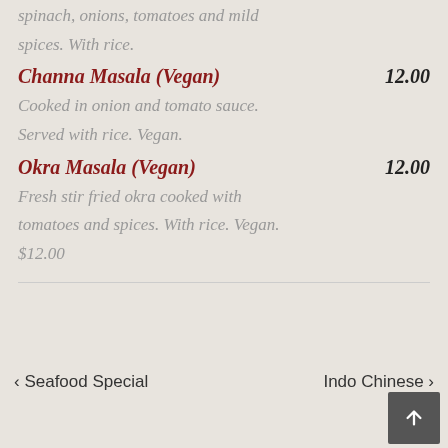spinach, onions, tomatoes and mild spices. With rice.
Channa Masala (Vegan)  12.00
Cooked in onion and tomato sauce.
Served with rice. Vegan.
Okra Masala (Vegan)  12.00
Fresh stir fried okra cooked with tomatoes and spices. With rice. Vegan.
$12.00
< Seafood Special    Indo Chinese >